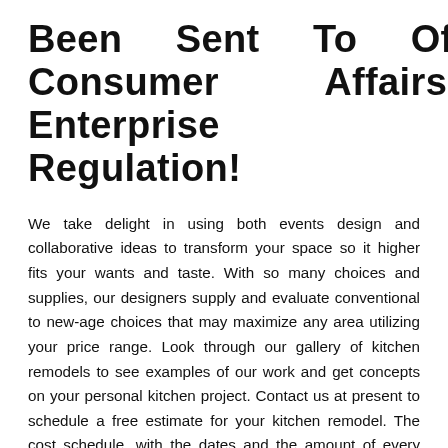Been Sent To Office Of Consumer Affairs And Enterprise Regulation!
We take delight in using both events design and collaborative ideas to transform your space so it higher fits your wants and taste. With so many choices and supplies, our designers supply and evaluate conventional to new-age choices that may maximize any area utilizing your price range. Look through our gallery of kitchen remodels to see examples of our work and get concepts on your personal kitchen project. Contact us at present to schedule a free estimate for your kitchen remodel. The cost schedule, with the dates and the amount of every cost stated in dollars, including any finance charges. Final payment can't be demanded until the contract is accomplished to the satisfaction of all parties.
It cuts smoothly with a handsaw and it goes up in a flash with joint compound. No coping, no difficult angles, and ragged joints disappear with a dab of mud. Seizing shapes and colors will fresh up...